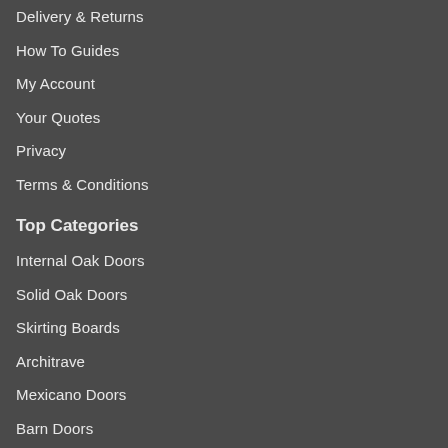Delivery & Returns
How To Guides
My Account
Your Quotes
Privacy
Terms & Conditions
Top Categories
Internal Oak Doors
Solid Oak Doors
Skirting Boards
Architrave
Mexicano Doors
Barn Doors
Panel Doors
Victorian Doors
Cottage Doors